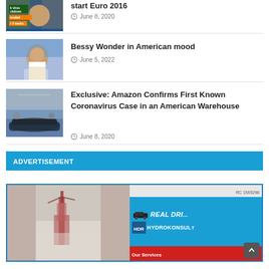[Figure (photo): Partial news article thumbnail showing person in mask/PPE with text overlay about virus lockdown extended 3 weeks]
start Euro 2016
June 8, 2020
[Figure (photo): News article thumbnail showing man in white traditional attire at outdoor event]
Bessy Wonder in American mood
June 5, 2022
[Figure (photo): News article thumbnail showing military personnel on an inflatable boat on water]
Exclusive: Amazon Confirms First Known Coronavirus Case in an American Warehouse
June 8, 2020
ADVERTISEMENT
[Figure (photo): Advertisement banner showing a building/tower in fog on the left, and Real Dri Hydrokonsult company branding on the right with RC 1565298 registration number and Our Services text]